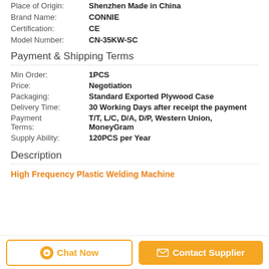Place of Origin: Shenzhen Made in China
Brand Name: CONNIE
Certification: CE
Model Number: CN-35KW-SC
Payment & Shipping Terms
Min Order: 1PCS
Price: Negotiation
Packaging: Standard Exported Plywood Case
Delivery Time: 30 Working Days after receipt the payment
Payment Terms: T/T, L/C, D/A, D/P, Western Union, MoneyGram
Supply Ability: 120PCS per Year
Description
High Frequency Plastic Welding Machine